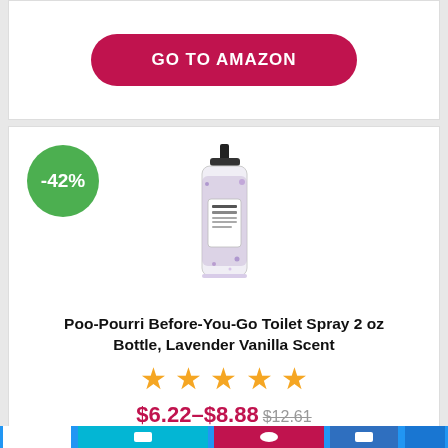[Figure (other): GO TO AMAZON button in dark red/pink rounded rectangle]
[Figure (photo): Poo-Pourri Before-You-Go Toilet Spray 2 oz bottle with lavender purple glitter design and black spray top]
Poo-Pourri Before-You-Go Toilet Spray 2 oz Bottle, Lavender Vanilla Scent
[Figure (other): Five orange star rating icons]
$6.22–$8.88 $12.61